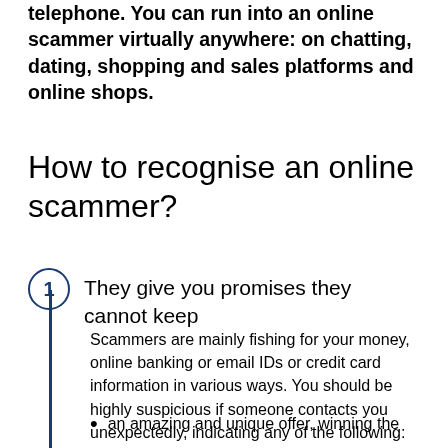telephone. You can run into an online scammer virtually anywhere: on chatting, dating, shopping and sales platforms and online shops.
How to recognise an online scammer?
1  They give you promises they cannot keep
Scammers are mainly fishing for your money, online banking or email IDs or credit card information in various ways. You should be highly suspicious if someone contacts you unexpectedly, indicating any of the following:
an amazing and unique offer, winning the